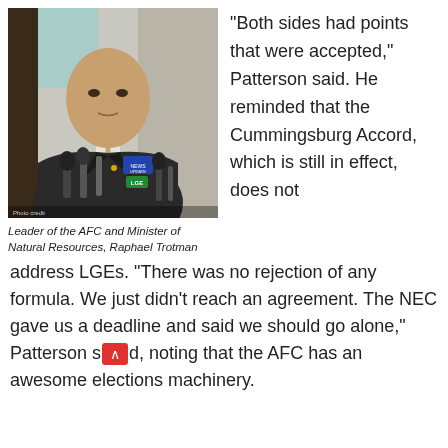[Figure (photo): Photo of a man in a suit at a press conference with microphones in front of him]
Leader of the AFC and Minister of Natural Resources, Raphael Trotman
“Both sides had points that were accepted,” Patterson said. He reminded that the Cummingsburg Accord, which is still in effect, does not address LGEs. “There was no rejection of any formula. We just didn’t reach an agreement. The NEC gave us a deadline and said we should go alone,” Patterson said, noting that the AFC has an awesome elections machinery.